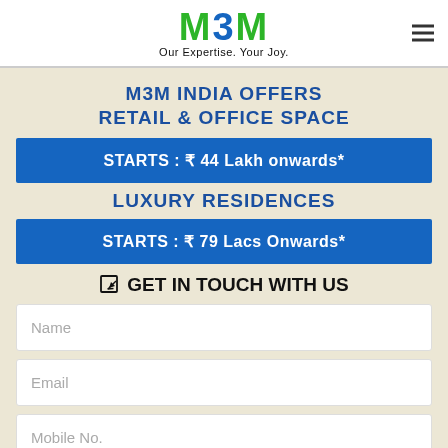[Figure (logo): M3M logo with green M, blue 3 and M letters, tagline 'Our Expertise. Your Joy.']
M3M INDIA OFFERS RETAIL & OFFICE SPACE
STARTS : ₹ 44 Lakh onwards*
LUXURY RESIDENCES
STARTS : ₹ 79 Lacs Onwards*
GET IN TOUCH WITH US
Name
Email
Mobile No.